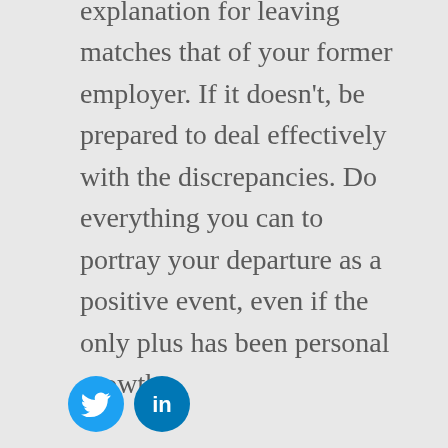explanation for leaving matches that of your former employer. If it doesn't, be prepared to deal effectively with the discrepancies. Do everything you can to portray your departure as a positive event, even if the only plus has been personal growth.

If your last employer is assassinating your character in reference checks, instead use as references colleagues who admire your work. Round out your references with people who know
[Figure (illustration): Two circular social media icons: Twitter (blue bird) and LinkedIn (blue 'in' logo)]